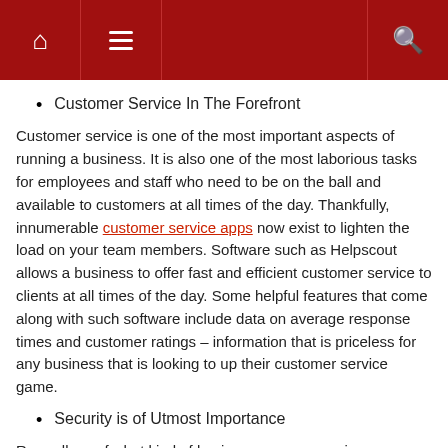[navigation bar with home, menu, and search icons]
Customer Service In The Forefront
Customer service is one of the most important aspects of running a business. It is also one of the most laborious tasks for employees and staff who need to be on the ball and available to customers at all times of the day. Thankfully, innumerable customer service apps now exist to lighten the load on your team members. Software such as Helpscout allows a business to offer fast and efficient customer service to clients at all times of the day. Some helpful features that come along with such software include data on average response times and customer ratings – information that is priceless for any business that is looking to up their customer service game.
Security is of Utmost Importance
Regardless of what kind of business you are running